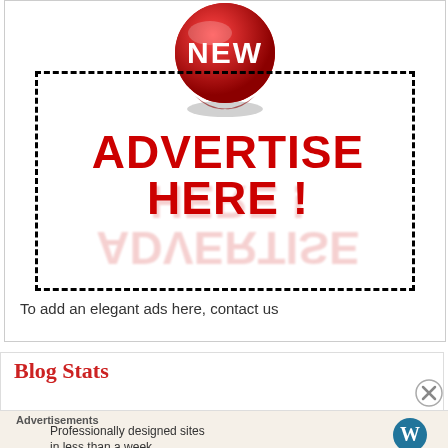[Figure (illustration): Advertise Here banner with red NEW badge sticker, dashed border rectangle, bold red ADVERTISE HERE ! text with reflection]
To add an elegant ads here, contact us
Blog Stats
Advertisements
Professionally designed sites in less than a week